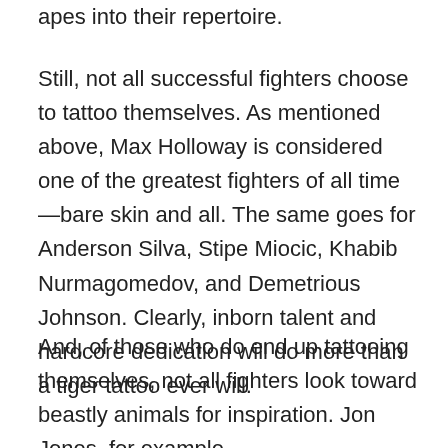apes into their repertoire.
Still, not all successful fighters choose to tattoo themselves. As mentioned above, Max Holloway is considered one of the greatest fighters of all time—bare skin and all. The same goes for Anderson Silva, Stipe Miocic, Khabib Nurmagomedov, and Demetrious Johnson. Clearly, inborn talent and hardcore dedication will do more than a tiger tattoo ever will.
And, of those who do end up tattooing themselves, not all fighters look toward beastly animals for inspiration. Jon Jones, for example,